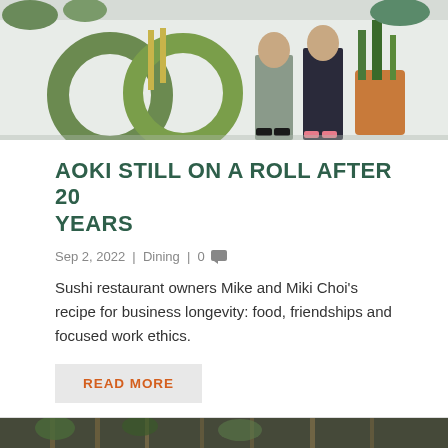[Figure (photo): Two people standing outdoors in front of a white wall with green tires/rings as decoration, potted cacti and plants around them.]
AOKI STILL ON A ROLL AFTER 20 YEARS
Sep 2, 2022 | Dining | 0
Sushi restaurant owners Mike and Miki Choi's recipe for business longevity: food, friendships and focused work ethics.
READ MORE
[Figure (photo): Colorful outdoor scene with small decorative signs or blocks, blurred background.]